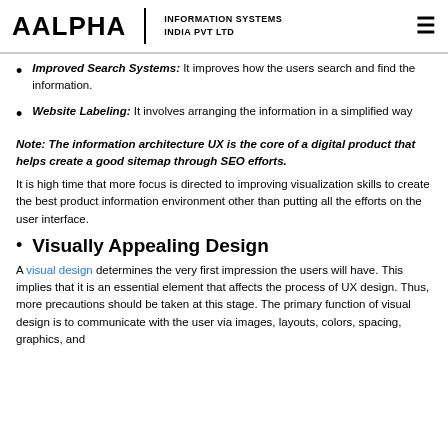AALPHA | INFORMATION SYSTEMS INDIA PVT LTD
Improved Search Systems: It improves how the users search and find the information.
Website Labeling: It involves arranging the information in a simplified way
Note: The information architecture UX is the core of a digital product that helps create a good sitemap through SEO efforts.
It is high time that more focus is directed to improving visualization skills to create the best product information environment other than putting all the efforts on the user interface.
Visually Appealing Design
A visual design determines the very first impression the users will have. This implies that it is an essential element that affects the process of UX design. Thus, more precautions should be taken at this stage. The primary function of visual design is to communicate with the user via images, layouts, colors, spacing, graphics, and